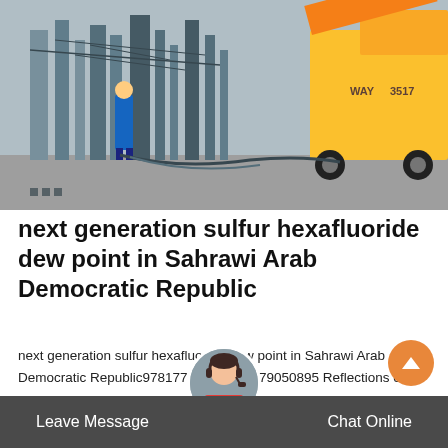[Figure (photo): Workers in blue coveralls at an industrial electrical substation site with large yellow service truck/vehicle in the background. Various pipes, cables and equipment visible.]
next generation sulfur hexafluoride dew point in Sahrawi Arab Democratic Republic
next generation sulfur hexafluoride dew point in Sahrawi Arab Democratic Republic9781779050892 1779050895 Reflections on the Crisis in the Democratic Republic of Congo, Ibbo Mandaza 9780321179746 0321179749 Academic Writing - Genres, Samples, and Resources, Mary Kay a. Mulvaney, David A Jolliffe